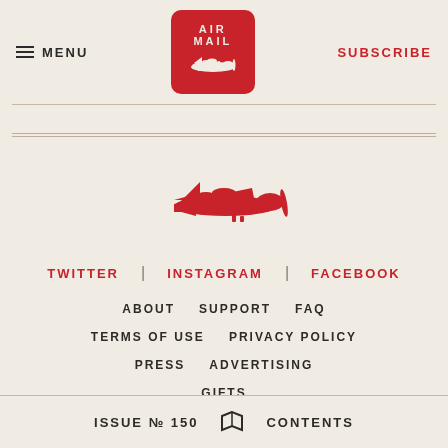[Figure (logo): Air Mail logo: red rounded rectangle with airplane silhouette and AIR MAIL text]
MENU
SUBSCRIBE
[Figure (illustration): Large red vintage airplane illustration centered on page]
TWITTER | INSTAGRAM | FACEBOOK
ABOUT
SUPPORT
FAQ
TERMS OF USE
PRIVACY POLICY
PRESS
ADVERTISING
GIFTS
ISSUE № 150  CONTENTS